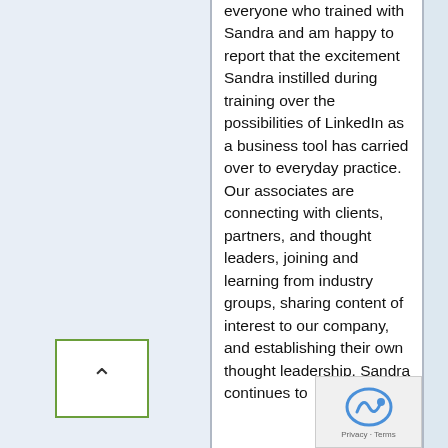everyone who trained with Sandra and am happy to report that the excitement Sandra instilled during training over the possibilities of LinkedIn as a business tool has carried over to everyday practice. Our associates are connecting with clients, partners, and thought leaders, joining and learning from industry groups, sharing content of interest to our company, and establishing their own thought leadership. Sandra continues to
[Figure (other): Back/scroll-to-top button: a white square with green border containing an upward-pointing chevron arrow]